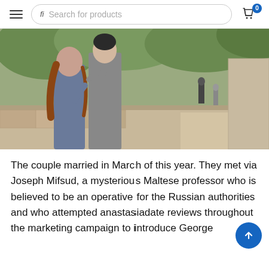Search for products
[Figure (photo): A couple embracing outdoors near a stone wall with trees, two people visible in background along a tree-lined path.]
The couple married in March of this year. They met via Joseph Mifsud, a mysterious Maltese professor who is believed to be an operative for the Russian authorities and who attempted anastasiadate reviews throughout the marketing campaign to introduce George